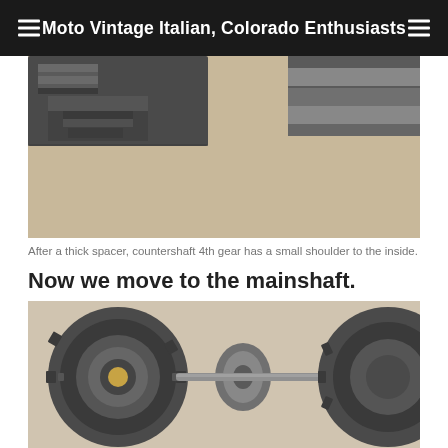Moto Vintage Italian, Colorado Enthusiasts
[Figure (photo): Close-up photo of countershaft 4th gear component on a beige surface, showing a thick spacer and small shoulder detail. Metal gears and shafts visible.]
After a thick spacer, countershaft 4th gear has a small shoulder to the inside.
Now we move to the mainshaft.
[Figure (photo): Photo of mainshaft assembly components laid out on a light surface, showing large gear with splines on the left, a flanged disk in the center, and another gear on the right, connected by a metal shaft.]